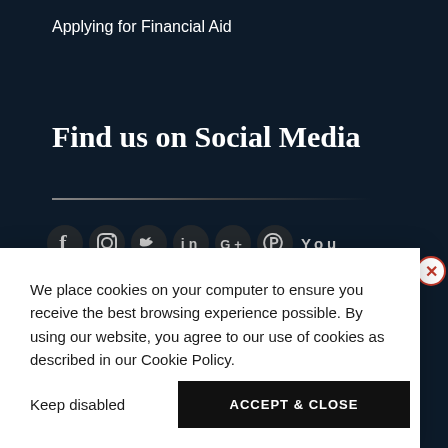Applying for Financial Aid
Find us on Social Media
[Figure (illustration): Social media icons row: Facebook, Instagram, Twitter, LinkedIn, Google+, Pinterest, YouTube]
We place cookies on your computer to ensure you receive the best browsing experience possible. By using our website, you agree to our use of cookies as described in our Cookie Policy.
Keep disabled
ACCEPT & CLOSE